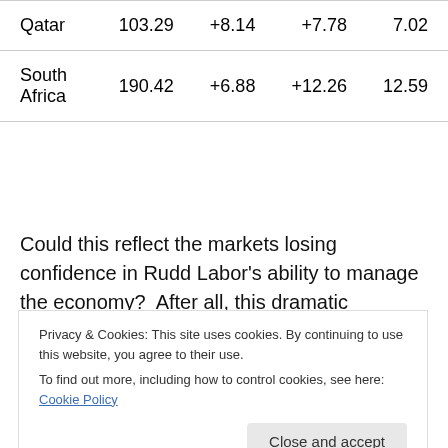| Qatar | 103.29 | +8.14 | +7.78 | 7.02 |
| South Africa | 190.42 | +6.88 | +12.26 | 12.59 |
Could this reflect the markets losing confidence in Rudd Labor's ability to manage the economy?  After all, this dramatic deterioration in the markets' perception of our ability to repay our Rudd spent sovereign debts also
Privacy & Cookies: This site uses cookies. By continuing to use this website, you agree to their use.
To find out more, including how to control cookies, see here: Cookie Policy